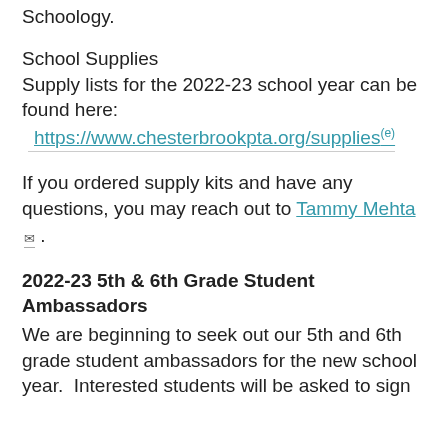Schoology.
School Supplies
Supply lists for the 2022-23 school year can be found here:
https://www.chesterbrookpta.org/supplies
If you ordered supply kits and have any questions, you may reach out to Tammy Mehta ✉ .
2022-23 5th & 6th Grade Student Ambassadors
We are beginning to seek out our 5th and 6th grade student ambassadors for the new school year.  Interested students will be asked to sign